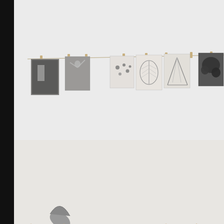[Figure (photo): A Scandinavian-style workspace photographed in black and white tones. A rustic wooden trestle desk sits in the foreground with desk items including a lamp, scissors, bowls, and rolled papers. On the white wall behind the desk, a horizontal twine string with wooden clothespins holds several black and white photographs/prints. A fluffy white sheepskin rug drapes over a stool beneath the desk. A black vertical bar is visible on the far left edge.]